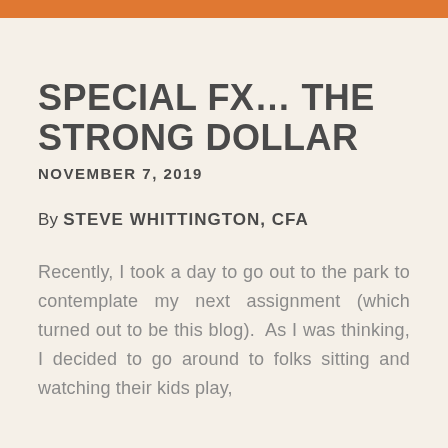SPECIAL FX… THE STRONG DOLLAR
NOVEMBER 7, 2019
By STEVE WHITTINGTON, CFA
Recently, I took a day to go out to the park to contemplate my next assignment (which turned out to be this blog). As I was thinking, I decided to go around to folks sitting and watching their kids play,